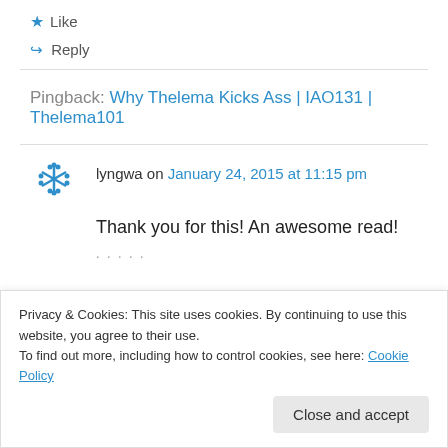★ Like
↪ Reply
Pingback: Why Thelema Kicks Ass | IAO131 | Thelema101
lyngwa on January 24, 2015 at 11:15 pm
Thank you for this! An awesome read!
Privacy & Cookies: This site uses cookies. By continuing to use this website, you agree to their use.
To find out more, including how to control cookies, see here: Cookie Policy
Close and accept